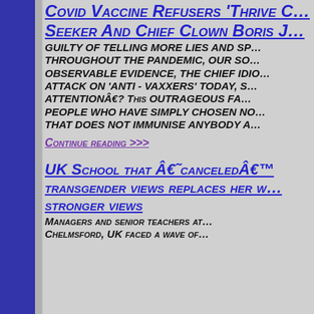Covid Vaccine Refusers 'Thrive C… Seeker And Chief Clown Boris J…
GUILTY OF TELLING MORE LIES AND SP… THROUGHOUT THE PANDEMIC, OUR SO… OBSERVABLE EVIDENCE, THE CHIEF IDIO… ATTACK ON 'ANTI - VAXXERS' TODAY, S… ATTENTIONÂ€? THIS OUTRAGEOUS FA… PEOPLE WHO HAVE SIMPLY CHOSEN NO… THAT DOES NOT IMMUNISE ANYBODY A…
Continue reading >>>
UK School that Â€˜canceledÂ€™ transgender views replaces her w… stronger views
Managers and senior teachers at… Chelmsford, UK faced a wave of…